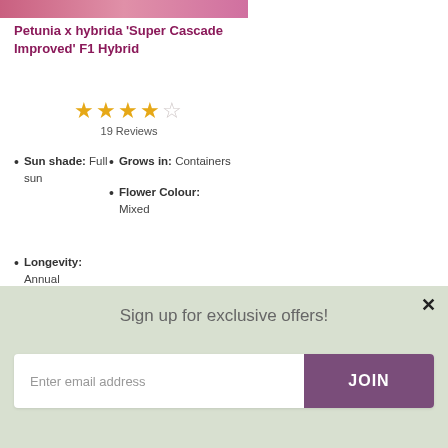[Figure (photo): Top portion of a petunia flower image, cropped]
Petunia x hybrida 'Super Cascade Improved' F1 Hybrid
★★★★☆ 19 Reviews
Sun shade: Full sun
Grows in: Containers
Flower Colour: Mixed
Longevity: Annual
[Figure (photo): Bottom portion showing green foliage and red/strawberry plant]
Sign up for exclusive offers!
Enter email address
JOIN